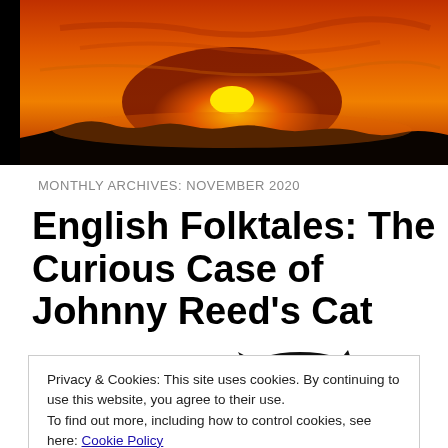[Figure (photo): Sunset photo with bright orange sky, dark silhouette of landscape at bottom, bright yellow sun on horizon. Black border on left side.]
MONTHLY ARCHIVES: NOVEMBER 2020
English Folktales: The Curious Case of Johnny Reed's Cat
[Figure (illustration): Black silhouette of a cat seen from behind, with pointed ears and whiskers visible against white background.]
Privacy & Cookies: This site uses cookies. By continuing to use this website, you agree to their use.
To find out more, including how to control cookies, see here: Cookie Policy
Close and accept